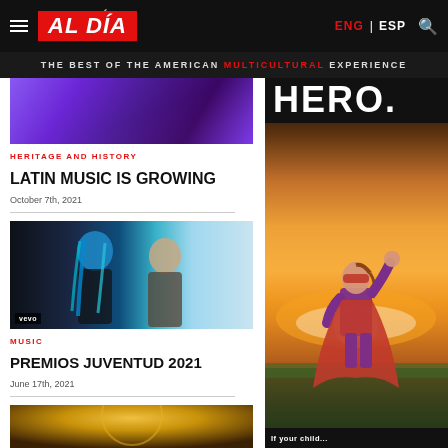AL DÍA — THE BEST OF THE AMERICAN MULTICULTURAL EXPERIENCE — ENG | ESP
[Figure (photo): Purple-lit concert/stage scene, partial image at top of left column]
HERITAGE AND HISTORY
LATIN MUSIC IS GROWING
October 7th, 2021
[Figure (photo): Woman with blue hair and man, Vevo music video screenshot]
MUSIC
PREMIOS JUVENTUD 2021
June 17th, 2021
[Figure (photo): Partial image at bottom, golden/warm toned]
[Figure (photo): Right column: child in superhero cape and red mask with fist raised, sunset background, with text HERO. at top and partial text at bottom]